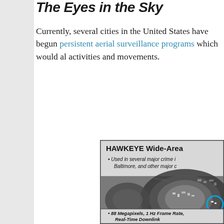The Eyes in the Sky
Currently, several cities in the United States have begun persistent aerial surveillance programs which would allow tracking of activities and movements.
[Figure (infographic): HAWKEYE Wide-Area surveillance system infographic showing aerial photograph of a city with a blue circle highlighting a specific area. Header reads 'HAWKEYE Wide-Area' with bullet point 'Used in several major crime investigations in Baltimore, and other major cities'. Footer reads '88 Megapixels, 1 Hz Frame Rate, Real-Time Downlink']